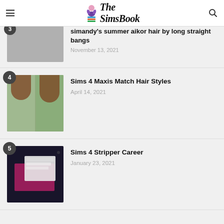The SimsBook
simandy's summer aikor hair by long straight bangs — November 13, 2021
Sims 4 Maxis Match Hair Styles — April 14, 2021
Sims 4 Stripper Career — January 23, 2021